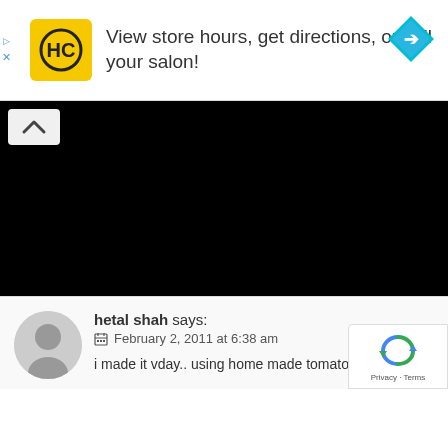[Figure (infographic): Advertisement banner for HC (Hair Club) showing yellow logo with 'HC' text, ad text 'View store hours, get directions, or call your salon!', blue diamond arrow navigation icon on right, and small close/skip icons on left]
[Figure (screenshot): Black rectangle representing a video player or media area with a white chevron/up-arrow button in top-left corner]
hetal shah says: February 2, 2011 at 6:38 am
i made it vday.. using home made tomato puree...